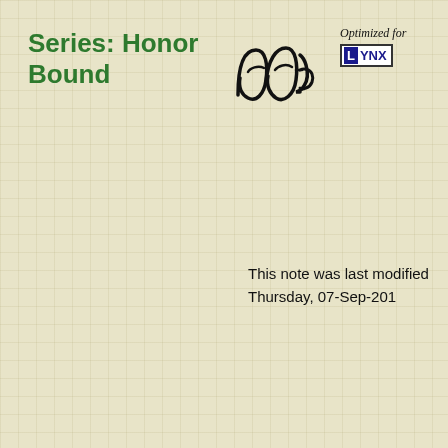Series: Honor Bound
[Figure (logo): Handwritten stylized signature logo reading 'DD-B' in cursive black ink]
[Figure (logo): Badge reading 'Optimized for LYNX' with L in blue box and YNX in blue text, italic serif text above]
This note was last modified Thursday, 07-Sep-201
This note contains spoilers for the series.